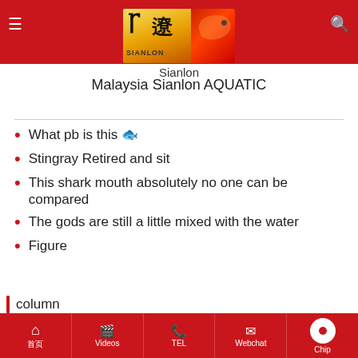[Figure (logo): Sianlon aquatic brand logo with Chinese characters and fish image on red background header]
Malaysia Sianlon AQUATIC
What pb is this 🐟
Stingray Retired and sit
This shark mouth absolutely no one can be compared
The gods are still a little mixed with the water
Figure
column
tropical fish | ˪Arowana Stingray Tiger Fish
˪Asian Arowana | ˪Stingray
˪Tiger fish | ˪Fish Medicine and AROWAN...
˪Aquarium Accessory | ˪Mixed fish
首页  Videos  TEL  Webchat  Chip